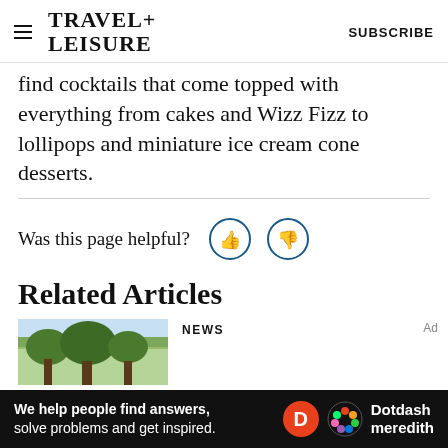TRAVEL+ LEISURE | SUBSCRIBE
find cocktails that come topped with everything from cakes and Wizz Fizz to lollipops and miniature ice cream cone desserts.
Was this page helpful?
Related Articles
NEWS
Ad
We help people find answers, solve problems and get inspired. Dotdash meredith